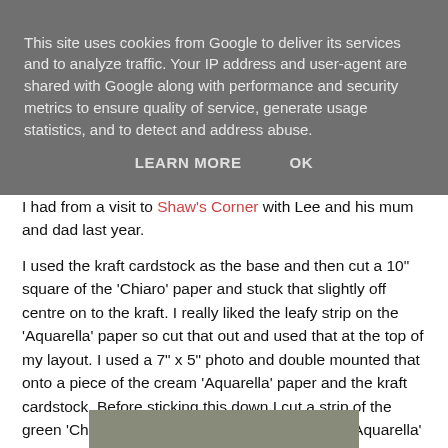This site uses cookies from Google to deliver its services and to analyze traffic. Your IP address and user-agent are shared with Google along with performance and security metrics to ensure quality of service, generate usage statistics, and to detect and address abuse.
LEARN MORE   OK
I had from a visit to Shaw's Corner with Lee and his mum and dad last year.
I used the kraft cardstock as the base and then cut a 10" square of the 'Chiaro' paper and stuck that slightly off centre on to the kraft. I really liked the leafy strip on the 'Aquarella' paper so cut that out and used that at the top of my layout. I used a 7" x 5" photo and double mounted that onto a piece of the cream 'Aquarella' paper and the kraft cardstock. Before sticking this down I cut a strip of the green 'Chiaro' and a wavy edged strip of cream 'Aquarella' and used this under the bottom edge of my photo.
[Figure (photo): Partial view of a photo strip at the bottom of the page, showing a muted greenish-gray image]